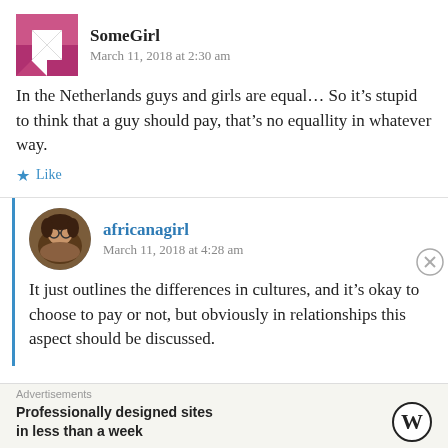[Figure (illustration): Pink/mauve geometric mosaic square avatar for user SomeGirl]
SomeGirl
March 11, 2018 at 2:30 am
In the Netherlands guys and girls are equal... So it's stupid to think that a guy should pay, that's no equallity in whatever way.
★ Like
[Figure (photo): Circular profile photo of africanagirl, person wearing a fur-trimmed coat and glasses]
africanagirl
March 11, 2018 at 4:28 am
It just outlines the differences in cultures, and it's okay to choose to pay or not, but obviously in relationships this aspect should be discussed.
Advertisements
Professionally designed sites in less than a week